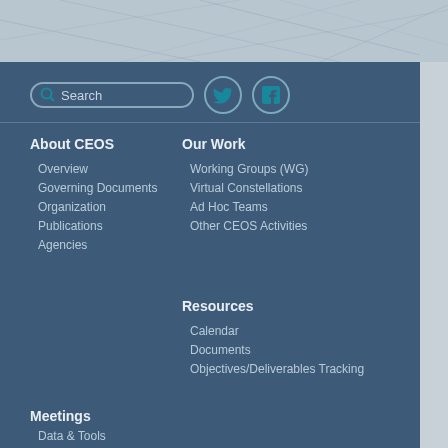[Figure (illustration): Header banner with diagonal line geometric pattern on a grey-blue background]
Search
[Figure (logo): Twitter bird icon circle]
[Figure (logo): Facebook 'f' icon circle]
About CEOS
Overview
Governing Documents
Organization
Publications
Agencies
Our Work
Working Groups (WG)
Virtual Constellations
Ad Hoc Teams
Other CEOS Activities
Resources
Calendar
Documents
Objectives/Deliverables Tracking
Meetings
Data & Tools